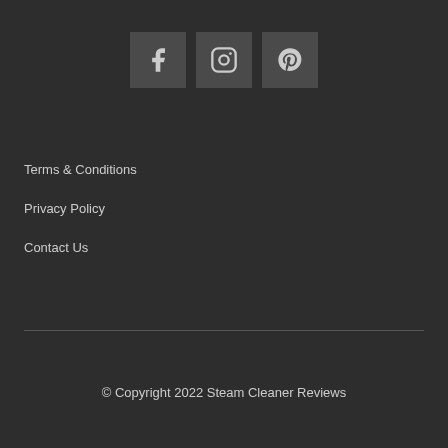[Figure (illustration): Three social media icon buttons: Facebook (f), Instagram (camera outline), and Pinterest (P) in dark square boxes centered horizontally]
Terms & Conditions
Privacy Policy
Contact Us
© Copyright 2022 Steam Cleaner Reviews